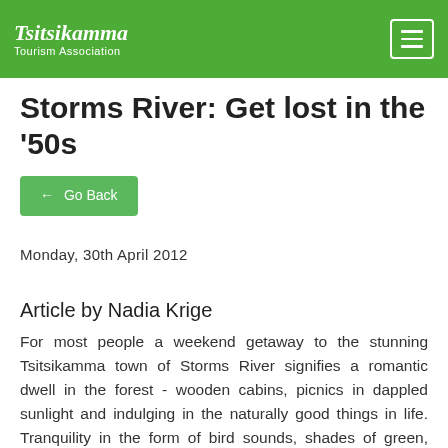Tsitsikamma Tourism Association
Storms River: Get lost in the '50s
← Go Back
Monday, 30th April 2012
Article by Nadia Krige
For most people a weekend getaway to the stunning Tsitsikamma town of Storms River signifies a romantic dwell in the forest - wooden cabins, picnics in dappled sunlight and indulging in the naturally good things in life. Tranquility in the form of bird sounds, shades of green, brown and hints of sky blue.